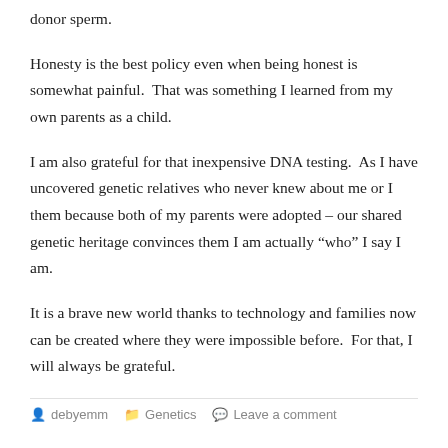donor sperm.
Honesty is the best policy even when being honest is somewhat painful.  That was something I learned from my own parents as a child.
I am also grateful for that inexpensive DNA testing.  As I have uncovered genetic relatives who never knew about me or I them because both of my parents were adopted – our shared genetic heritage convinces them I am actually “who” I say I am.
It is a brave new world thanks to technology and families now can be created where they were impossible before.  For that, I will always be grateful.
debyemm   Genetics   Leave a comment